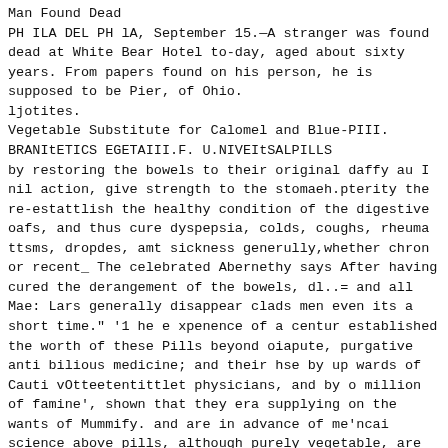Man Found Dead
PH ILA DEL PH lA, September 15.—A stranger was found dead at White Bear Hotel to-day, aged about sixty years. From papers found on his person, he is supposed to be Pier, of Ohio.
ljotites.
Vegetable Substitute for Calomel and Blue-PIII.
BRANItETICS EGETAIII.F. U.NIVEItSALPILLS
by restoring the bowels to their original daffy au I nil action, give strength to the stomaeh.pterity the re-estattlish the healthy condition of the digestive oafs, and thus cure dyspepsia, colds, coughs, rheuma ttsms, dropdes, amt sickness generully,whether chron or recent_ The celebrated Abernethy says After having cured the derangement of the bowels, dl..= and all Mae: Lars generally disappear clads men even its a short time." '1 he e xpenence of a centur established the worth of these Pills beyond oiapute, purgative anti bilious medicine; and their hse by up wards of Cauti vOtteetentittlet physicians, and by o million of famine', shown that they era supplying on the wants of Mummify. and are in advance of me'ncai science above pills, although purely vegetable, are